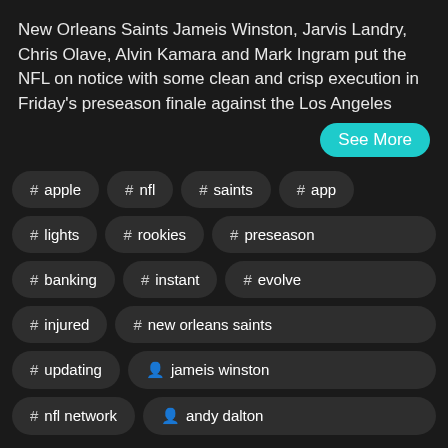New Orleans Saints Jameis Winston, Jarvis Landry, Chris Olave, Alvin Kamara and Mark Ingram put the NFL on notice with some clean and crisp execution in Friday's preseason finale against the Los Angeles
See More
# apple
# nfl
# saints
# app
# lights
# rookies
# preseason
# banking
# instant
# evolve
# injured
# new orleans saints
# updating
jameis winston
# nfl network
andy dalton